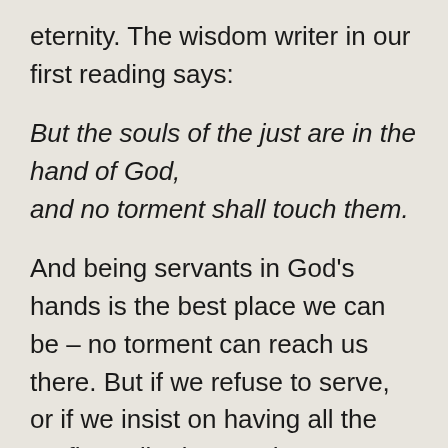eternity.  The wisdom writer in our first reading says:
But the souls of the just are in the hand of God,
and no torment shall touch them.
And being servants in God’s hands is the best place we can be – no torment can reach us there.  But if we refuse to serve, or if we insist on having all the profit credited to us, then we are outside the hand of God, and God forbid what awaits us there.  Serving our God in humility is indeed the task of all our lives; it is